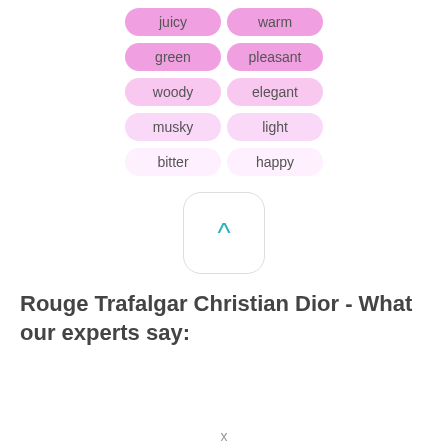juicy | warm
green | pleasant
woody | elegant
musky | light
bitter | happy
[Figure (other): A rounded square button with an upward caret arrow in teal color]
Rouge Trafalgar Christian Dior - What our experts say: